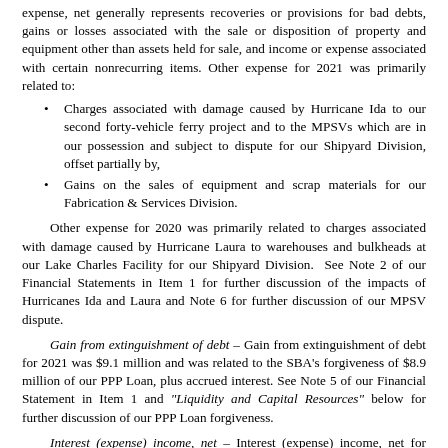expense, net generally represents recoveries or provisions for bad debts, gains or losses associated with the sale or disposition of property and equipment other than assets held for sale, and income or expense associated with certain nonrecurring items. Other expense for 2021 was primarily related to:
Charges associated with damage caused by Hurricane Ida to our second forty-vehicle ferry project and to the MPSVs which are in our possession and subject to dispute for our Shipyard Division, offset partially by,
Gains on the sales of equipment and scrap materials for our Fabrication & Services Division.
Other expense for 2020 was primarily related to charges associated with damage caused by Hurricane Laura to warehouses and bulkheads at our Lake Charles Facility for our Shipyard Division.  See Note 2 of our Financial Statements in Item 1 for further discussion of the impacts of Hurricanes Ida and Laura and Note 6 for further discussion of our MPSV dispute.
Gain from extinguishment of debt – Gain from extinguishment of debt for 2021 was $9.1 million and was related to the SBA's forgiveness of $8.9 million of our PPP Loan, plus accrued interest. See Note 5 of our Financial Statement in Item 1 and "Liquidity and Capital Resources" below for further discussion of our PPP Loan forgiveness.
Interest (expense) income, net – Interest (expense) income, net for 2021 and 2020 was expense of $0.1 million and $0.1 million, respectively.  Interest (expense) income, net consists of interest earned on our cash and short-term investment balances, interest incurred on our PPP Loan and the unused portion of our LC Facility, and amortization of deferred financing costs on our LC Facility.